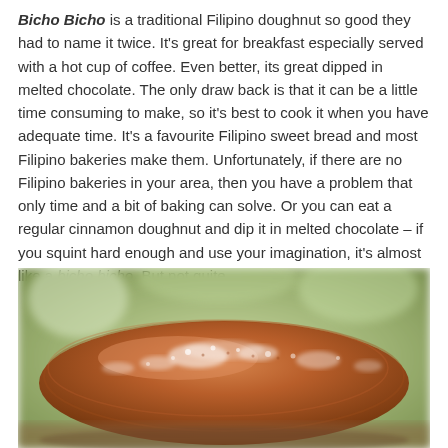Bicho Bicho is a traditional Filipino doughnut so good they had to name it twice. It's great for breakfast especially served with a hot cup of coffee. Even better, its great dipped in melted chocolate. The only draw back is that it can be a little time consuming to make, so it's best to cook it when you have adequate time. It's a favourite Filipino sweet bread and most Filipino bakeries make them. Unfortunately, if there are no Filipino bakeries in your area, then you have a problem that only time and a bit of baking can solve. Or you can eat a regular cinnamon doughnut and dip it in melted chocolate – if you squint hard enough and use your imagination, it's almost like a bicho bicho. But not quite.
[Figure (photo): Close-up photograph of a bicho bicho (Filipino doughnut) dusted with powdered sugar/cinnamon, golden-brown color, on a blurred green background]